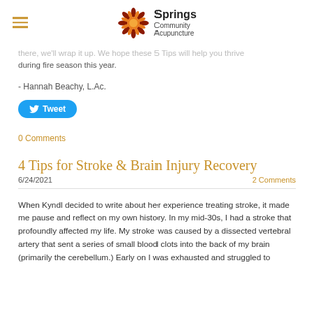Springs Community Acupuncture
there, we'll wrap it up. We hope these 5 Tips will help you thrive during fire season this year.
- Hannah Beachy, L.Ac.
[Figure (other): Tweet button with Twitter bird icon]
0 Comments
4 Tips for Stroke & Brain Injury Recovery
6/24/2021	2 Comments
When Kyndl decided to write about her experience treating stroke, it made me pause and reflect on my own history. In my mid-30s, I had a stroke that profoundly affected my life. My stroke was caused by a dissected vertebral artery that sent a series of small blood clots into the back of my brain (primarily the cerebellum.) Early on I was exhausted and struggled to